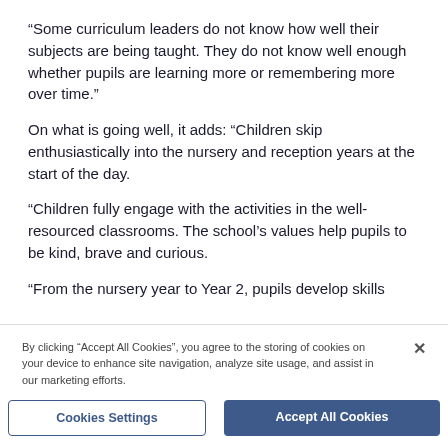“Some curriculum leaders do not know how well their subjects are being taught. They do not know well enough whether pupils are learning more or remembering more over time.”
On what is going well, it adds: “Children skip enthusiastically into the nursery and reception years at the start of the day.
“Children fully engage with the activities in the well-resourced classrooms. The school’s values help pupils to be kind, brave and curious.
“From the nursery year to Year 2, pupils develop skills
By clicking “Accept All Cookies”, you agree to the storing of cookies on your device to enhance site navigation, analyze site usage, and assist in our marketing efforts.